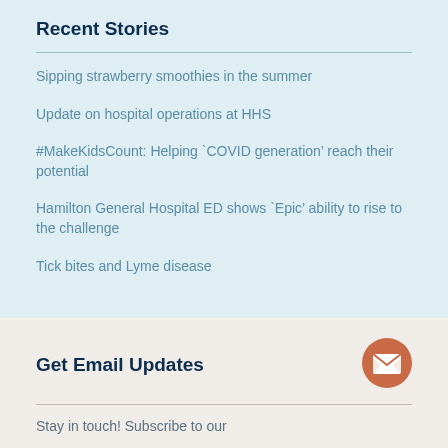Recent Stories
Sipping strawberry smoothies in the summer
Update on hospital operations at HHS
#MakeKidsCount: Helping ‘COVID generation’ reach their potential
Hamilton General Hospital ED shows ‘Epic’ ability to rise to the challenge
Tick bites and Lyme disease
Get Email Updates
[Figure (illustration): Orange circular envelope/email icon]
Stay in touch! Subscribe to our